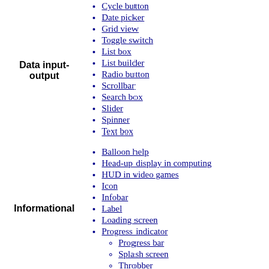Cycle button
Date picker
Grid view
Toggle switch
Data input-output
List box
List builder
Radio button
Scrollbar
Search box
Slider
Spinner
Text box
Balloon help
Head-up display in computing
HUD in video games
Icon
Infobar
Label
Loading screen
Progress indicator
Progress bar
Splash screen
Throbber
Informational
Sidebar